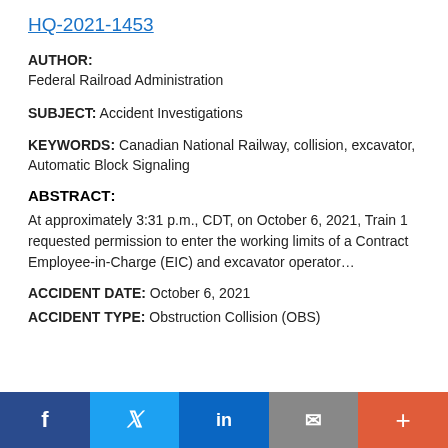HQ-2021-1453
AUTHOR: Federal Railroad Administration
SUBJECT: Accident Investigations
KEYWORDS: Canadian National Railway, collision, excavator, Automatic Block Signaling
ABSTRACT:
At approximately 3:31 p.m., CDT, on October 6, 2021, Train 1 requested permission to enter the working limits of a Contract Employee-in-Charge (EIC) and excavator operator…
ACCIDENT DATE: October 6, 2021
ACCIDENT TYPE: Obstruction Collision (OBS)
f  [Twitter]  in  [Email]  +